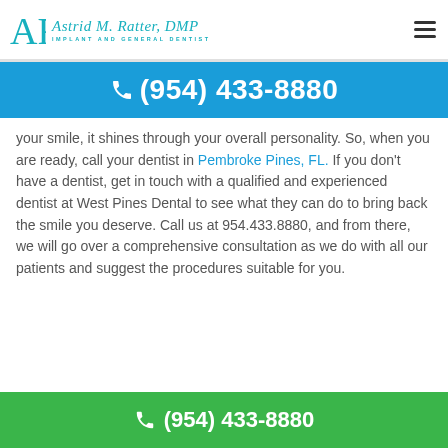Astrid M. Ratter, DMP — Implant and General Dentist
(954) 433-8880
your smile, it shines through your overall personality. So, when you are ready, call your dentist in Pembroke Pines, FL. If you don't have a dentist, get in touch with a qualified and experienced dentist at West Pines Dental to see what they can do to bring back the smile you deserve. Call us at 954.433.8880, and from there, we will go over a comprehensive consultation as we do with all our patients and suggest the procedures suitable for you.
(954) 433-8880